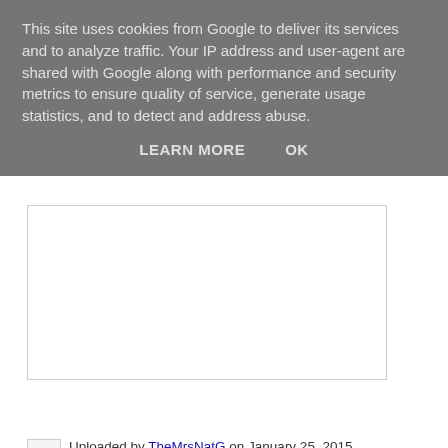This site uses cookies from Google to deliver its services and to analyze traffic. Your IP address and user-agent are shared with Google along with performance and security metrics to ensure quality of service, generate usage statistics, and to detect and address abuse.
LEARN MORE   OK
[Figure (other): Advertisement box with border]
Birdwatch 15
Uploaded by TheMrsNatG on January 25, 2015
© All rights reserved
The squirrel came to get in on the action too! One of the Mrs Blackbird's chased the other off... and the pigeon (all alone